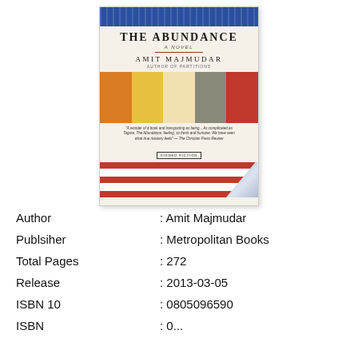[Figure (illustration): Book cover of 'The Abundance: A Novel' by Amit Majmudar. Cover features a blue floral band at top, cream title area with author name, a horizontal strip of colorful spices (orange, yellow, beige, grey, red), a quote, a 'Signed Fiction' badge, and red and white stripes at the bottom with a page-curl in the lower right corner.]
Author : Amit Majmudar
Publsiher : Metropolitan Books
Total Pages : 272
Release : 2013-03-05
ISBN 10 : 0805096590
ISBN ...